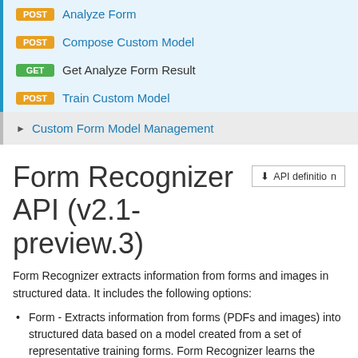POST Analyze Form
POST Compose Custom Model
GET Get Analyze Form Result
POST Train Custom Model
► Custom Form Model Management
Form Recognizer API (v2.1-preview.3)
Form Recognizer extracts information from forms and images in structured data. It includes the following options:
Form - Extracts information from forms (PDFs and images) into structured data based on a model created from a set of representative training forms. Form Recognizer learns the structure of your forms to intelligently extract text an